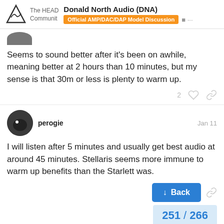Donald North Audio (DNA) — Official AMP/DAC/DAP Model Discussion — The HEAD Community
Seems to sound better after it's been on awhile, meaning better at 2 hours than 10 minutes, but my sense is that 30m or less is plenty to warm up.
perogie — Jan 11
I will listen after 5 minutes and usually get best audio at around 45 minutes. Stellaris seems more immune to warm up benefits than the Starlett was.
Eskamobob1
[Figure (screenshot): Back button (blue) and pagination showing 251 / 266]